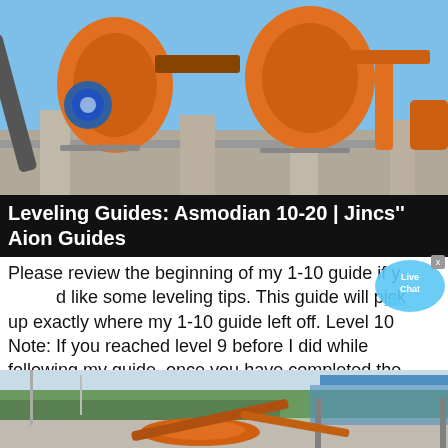[Figure (photo): Industrial heavy machinery with large orange crushing/grinding equipment and blue motor against a blue sky with concrete structures]
Leveling Guides: Asmodian 10-20 | Jincs'' Aion Guides
Please review the beginning of my 1-10 guide if you would like some leveling tips. This guide will pick up exactly where my 1-10 guide left off. Level 10 Note: If you reached level 9 before I did while following my guide, once you have completed the tasks in
[Figure (photo): Outdoor industrial scene with orange mining/crushing equipment laid on a paved surface near a blue-roofed shelter, surrounded by trees]